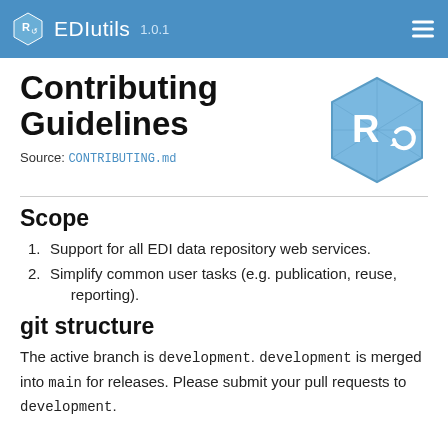EDIutils 1.0.1
Contributing Guidelines
Source: CONTRIBUTING.md
[Figure (logo): Blue hexagon logo with R and circular arrow icon for EDIutils package]
Scope
Support for all EDI data repository web services.
Simplify common user tasks (e.g. publication, reuse, reporting).
git structure
The active branch is development. development is merged into main for releases. Please submit your pull requests to development.